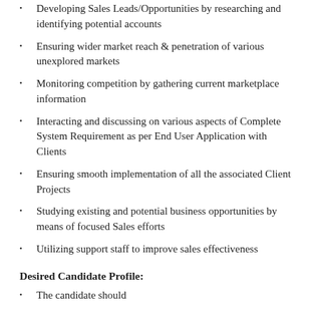Developing Sales Leads/Opportunities by researching and identifying potential accounts
Ensuring wider market reach & penetration of various unexplored markets
Monitoring competition by gathering current marketplace information
Interacting and discussing on various aspects of Complete System Requirement as per End User Application with Clients
Ensuring smooth implementation of all the associated Client Projects
Studying existing and potential business opportunities by means of focused Sales efforts
Utilizing support staff to improve sales effectiveness
Desired Candidate Profile:
The candidate should